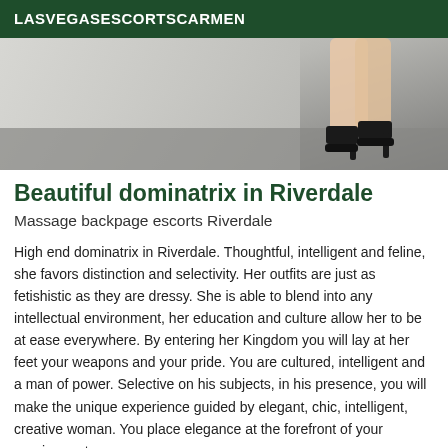LASVEGASESCORTSCARMEN
[Figure (photo): Photo showing legs and black high heel shoes against a concrete wall and asphalt ground]
Beautiful dominatrix in Riverdale
Massage backpage escorts Riverdale
High end dominatrix in Riverdale. Thoughtful, intelligent and feline, she favors distinction and selectivity. Her outfits are just as fetishistic as they are dressy. She is able to blend into any intellectual environment, her education and culture allow her to be at ease everywhere. By entering her Kingdom you will lay at her feet your weapons and your pride. You are cultured, intelligent and a man of power. Selective on his subjects, in his presence, you will make the unique experience guided by elegant, chic, intelligent, creative woman. You place elegance at the forefront of your requirements.